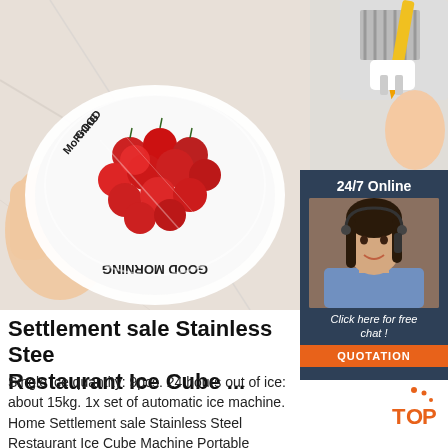[Figure (photo): Hands holding a white plate with 'Good Morning' text containing fresh cherry tomatoes covered with plastic wrap, on a marble surface]
[Figure (photo): Partial view of a device or appliance with yellow pen/pencil and white component being plugged in]
[Figure (photo): 24/7 Online chat box with dark blue background showing a smiling female customer service representative wearing a headset, with 'Click here for free chat!' text and orange QUOTATION button]
Settlement sale Stainless Steel Restaurant Ice Cube ...
Single ice quantity: 9pcs. 24 hours out of ice: about 15kg. 1x set of automatic ice machine. Home Settlement sale Stainless Steel Restaurant Ice Cube Machine Portable